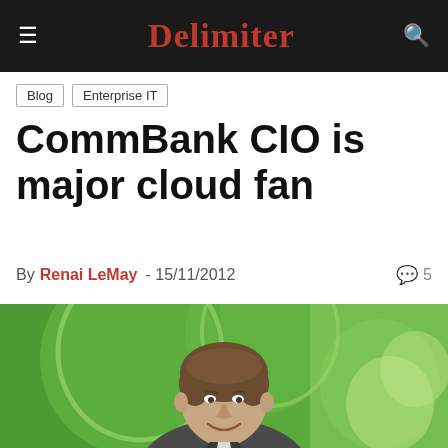Delimiter
Blog
Enterprise IT
CommBank CIO is major cloud fan
By Renai LeMay - 15/11/2012  5
[Figure (photo): Portrait photo of a man in a suit smiling, against a green background with CommBank branding]